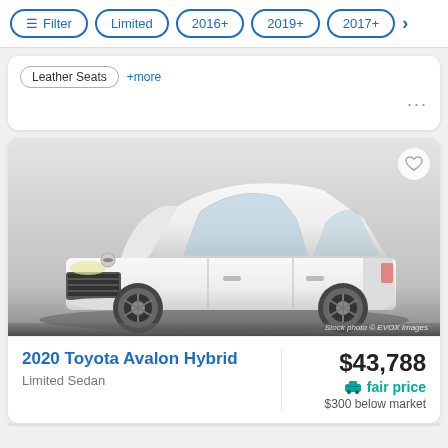Filter | Limited | 2016+ | 2019+ | 2017+ | >
Leather Seats +more ...
[Figure (photo): 2020 Toyota Avalon Hybrid white sedan, 3/4 front view, stock photo from EVOX images]
2020 Toyota Avalon Hybrid
Limited Sedan
$43,788
fair price
$300 below market